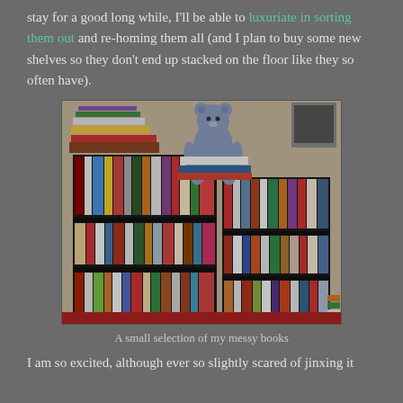stay for a good long while, I'll be able to luxuriate in sorting them out and re-homing them all (and I plan to buy some new shelves so they don't end up stacked on the floor like they so often have).
[Figure (photo): Photo of a large bookshelf filled with many books stacked and arranged, with a stuffed toy animal (bear) sitting on top of a pile of books in the center. Additional stacks of books are visible to the right.]
A small selection of my messy books
I am so excited, although ever so slightly scared of jinxing it